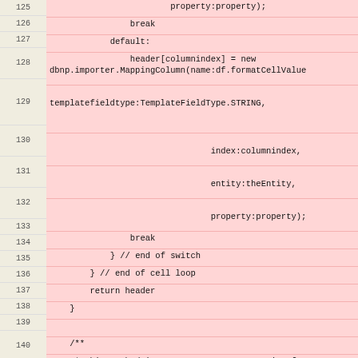| line | code |
| --- | --- |
| 125 |                         property:property); |
| 126 |                 break |
| 127 |             default: |
| 128 |                 header[columnindex] = new
dbnp.importer.MappingColumn(name:df.formatCellValue |
| 129 | templatefieldtype:TemplateFieldType.STRING, |
| 130 |                                 index:columnindex, |
| 131 |                                 entity:theEntity, |
| 132 |                                 property:property); |
| 133 |                 break |
| 134 |             } // end of switch |
| 135 |         } // end of cell loop |
| 136 |         return header |
| 137 |     } |
| 138 |  |
| 139 |     /** |
| 140 |      * This method is meant to return a matrix of
the rows and columns |
| 141 |          * used in the preview |
| 142 |          * |
| 143 |          * @param wb workbook object |
| 144 |          * @param sheetindex sheet index used |
| 145 |          * @param rows amount of rows returned |
| 146 |          * @return two dimensional array (matrix) of
Cell objects |
| 147 |          */ |
| 148 |  |
| 149 |     Object[][] getDatamatrix(Workbook wb, header, |